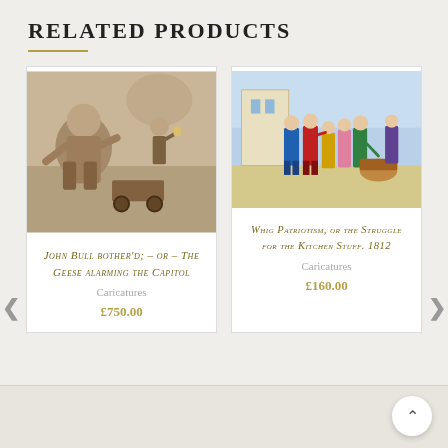RELATED PRODUCTS
[Figure (illustration): Sepia caricature of John Bull being startled, with a figure holding a lantern and a cart in the background]
John Bull bother'd; – or – The Geese alarming the Capitol
Caricatures
£750.00
[Figure (illustration): Colorful hand-colored caricature of Whig figures struggling over kitchen stuff, 1812]
Whig Patriotism, or the Struggle for the Kitchen Stuff. 1812
Caricatures
£160.00